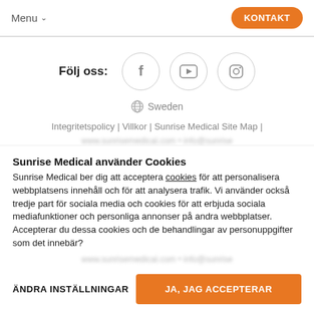Menu   KONTAKT
Följ oss:
[Figure (illustration): Three social media icons in circles: Facebook (f), YouTube (play button), Instagram (camera)]
Sweden
Integritetspolicy | Villkor | Sunrise Medical Site Map |
Sunrise Medical använder Cookies
Sunrise Medical ber dig att acceptera cookies för att personalisera webbplatsens innehåll och för att analysera trafik. Vi använder också tredje part för sociala media och cookies för att erbjuda sociala mediafunktioner och personliga annonser på andra webbplatser. Accepterar du dessa cookies och de behandlingar av personuppgifter som det innebär?
ÄNDRA INSTÄLLNINGAR
JA, JAG ACCEPTERAR